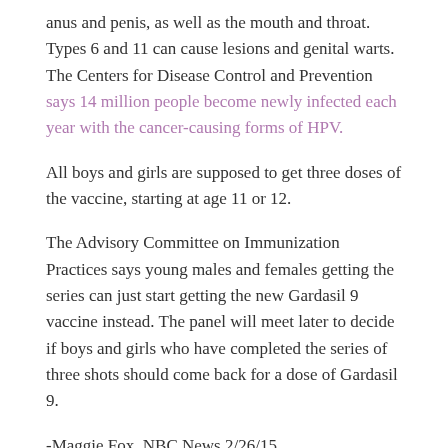anus and penis, as well as the mouth and throat. Types 6 and 11 can cause lesions and genital warts. The Centers for Disease Control and Prevention says 14 million people become newly infected each year with the cancer-causing forms of HPV.
All boys and girls are supposed to get three doses of the vaccine, starting at age 11 or 12.
The Advisory Committee on Immunization Practices says young males and females getting the series can just start getting the new Gardasil 9 vaccine instead. The panel will meet later to decide if boys and girls who have completed the series of three shots should come back for a dose of Gardasil 9.
-Maggie Fox, NBC News 2/26/15